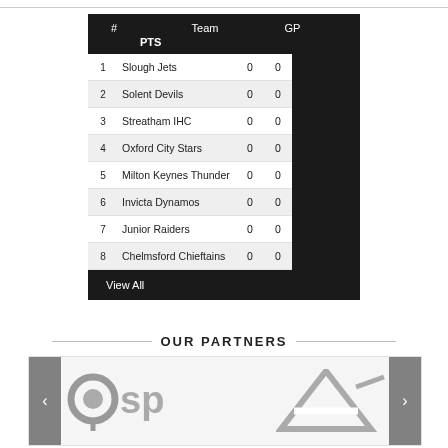| # | Team | GP | PTS |
| --- | --- | --- | --- |
| 1 | Slough Jets | 0 | 0 |
| 2 | Solent Devils | 0 | 0 |
| 3 | Streatham IHC | 0 | 0 |
| 4 | Oxford City Stars | 0 | 0 |
| 5 | Milton Keynes Thunder | 0 | 0 |
| 6 | Invicta Dynamos | 0 | 0 |
| 7 | Junior Raiders | 0 | 0 |
| 8 | Chelmsford Chieftains | 0 | 0 |
View All
OUR PARTNERS
[Figure (logo): OSP company logo in grey]
[Figure (logo): A-shaped logo (triangle/arrow) in grey]